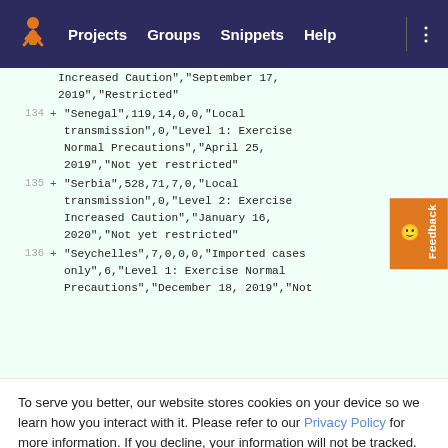Projects  Groups  Snippets  Help
Increased Caution","September 17, 2019","Restricted"
134 + "Senegal",119,14,0,0,"Local transmission",0,"Level 1: Exercise Normal Precautions","April 25, 2019","Not yet restricted"
135 + "Serbia",528,71,7,0,"Local transmission",0,"Level 2: Exercise Increased Caution","January 16, 2020","Not yet restricted"
136 + "Seychelles",7,0,0,0,"Imported cases only",6,"Level 1: Exercise Normal Precautions","December 18, 2019","Not
To serve you better, our website stores cookies on your device so we learn how you interact with it. Please refer to our Privacy Policy for more information. If you decline, your information will not be tracked.